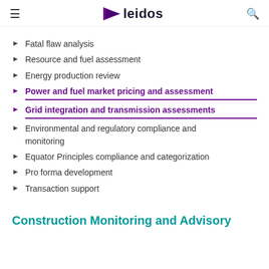leidos
Fatal flaw analysis
Resource and fuel assessment
Energy production review
Power and fuel market pricing and assessment
Grid integration and transmission assessments
Environmental and regulatory compliance and monitoring
Equator Principles compliance and categorization
Pro forma development
Transaction support
Construction Monitoring and Advisory